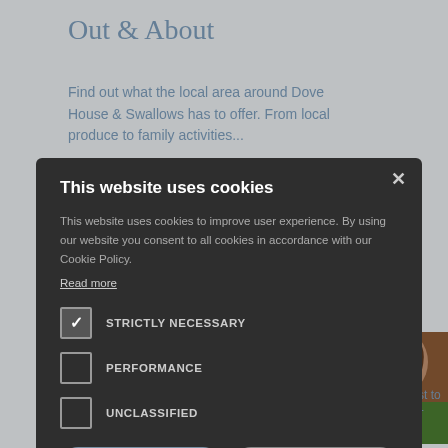Out & About
Find out what the local area around Dove House & Swallows has to offer. From local produce to family activities...
[Figure (photo): Partial photo of a woman with curly hair wearing a green top, visible on the right side behind the cookie consent modal]
This website uses cookies
This website uses cookies to improve user experience. By using our website you consent to all cookies in accordance with our Cookie Policy. Read more
STRICTLY NECESSARY (checked)
PERFORMANCE (unchecked)
UNCLASSIFIED (unchecked)
ACCEPT ALL | DECLINE ALL
SHOW DETAILS
ws and be the first to find out about our latest offers...